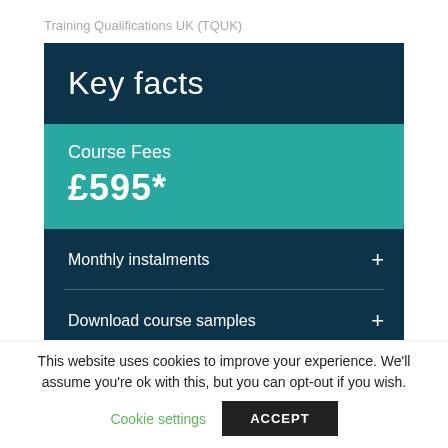Training Qualifications UK (TQUK)
Key facts
Course Fees £595*
Monthly instalments +
Download course samples +
This website uses cookies to improve your experience. We'll assume you're ok with this, but you can opt-out if you wish.
Cookie settings   ACCEPT